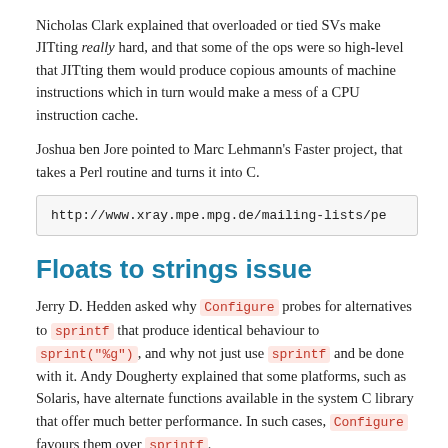Nicholas Clark explained that overloaded or tied SVs make JITting really hard, and that some of the ops were so high-level that JITting them would produce copious amounts of machine instructions which in turn would make a mess of a CPU instruction cache.
Joshua ben Jore pointed to Marc Lehmann's Faster project, that takes a Perl routine and turns it into C.
http://www.xray.mpe.mpg.de/mailing-lists/pe
Floats to strings issue
Jerry D. Hedden asked why Configure probes for alternatives to sprintf that produce identical behaviour to sprint("%g"), and why not just use sprintf and be done with it. Andy Dougherty explained that some platforms, such as Solaris, have alternate functions available in the system C library that offer much better performance. In such cases, Configure favours them over sprintf.